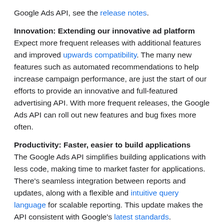Google Ads API, see the release notes.
Innovation: Extending our innovative ad platform
Expect more frequent releases with additional features and improved upwards compatibility. The many new features such as automated recommendations to help increase campaign performance, are just the start of our efforts to provide an innovative and full-featured advertising API. With more frequent releases, the Google Ads API can roll out new features and bug fixes more often.
Productivity: Faster, easier to build applications
The Google Ads API simplifies building applications with less code, making time to market faster for applications. There's seamless integration between reports and updates, along with a flexible and intuitive query language for scalable reporting. This update makes the API consistent with Google's latest standards.